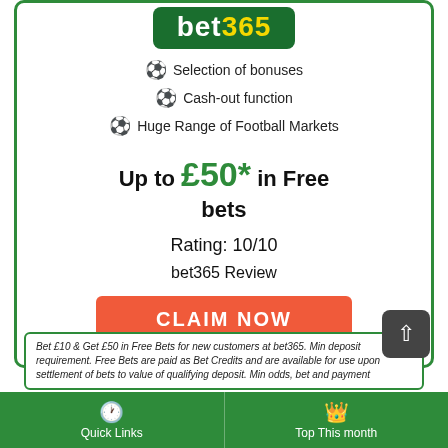[Figure (logo): bet365 logo in dark green with yellow 365]
⚽ Selection of bonuses
⚽ Cash-out function
⚽ Huge Range of Football Markets
Up to £50* in Free bets
Rating: 10/10
bet365 Review
[Figure (other): CLAIM NOW button in orange/red]
Bet £10 & Get £50 in Free Bets for new customers at bet365. Min deposit requirement. Free Bets are paid as Bet Credits and are available for use upon settlement of bets to value of qualifying deposit. Min odds, bet and payment
Quick Links | Top This month